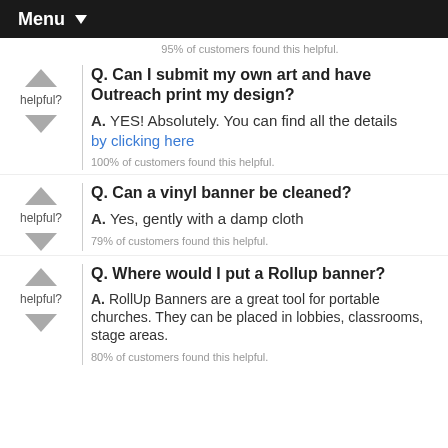Menu
95% of customers found this helpful.
Q. Can I submit my own art and have Outreach print my design?
A. YES! Absolutely. You can find all the details by clicking here
100% of customers found this helpful.
Q. Can a vinyl banner be cleaned?
A. Yes, gently with a damp cloth
79% of customers found this helpful.
Q. Where would I put a Rollup banner?
A. RollUp Banners are a great tool for portable churches. They can be placed in lobbies, classrooms, stage areas.
80% of customers found this helpful.